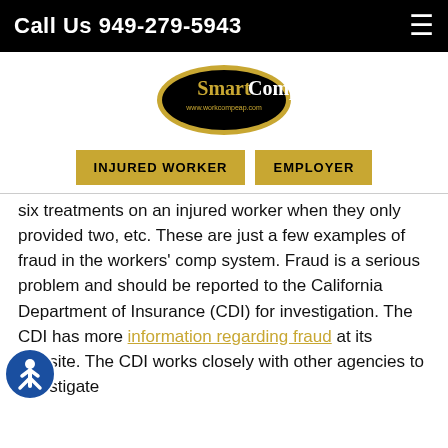Call Us 949-279-5943
[Figure (logo): SmartComp logo — black oval with gold border, gold and white text reading 'SmartComp', website www.workcompeap.com below]
INJURED WORKER   EMPLOYER
six treatments on an injured worker when they only provided two, etc. These are just a few examples of fraud in the workers' comp system. Fraud is a serious problem and should be reported to the California Department of Insurance (CDI) for investigation. The CDI has more information regarding fraud at its website. The CDI works closely with other agencies to investigate...